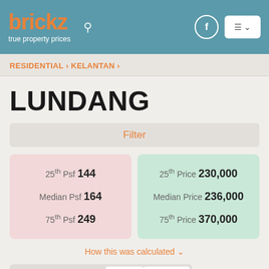brickz true property prices
RESIDENTIAL › KELANTAN ›
LUNDANG
Filter
| 25th Psf 144 | 25th Price 230,000 |
| Median Psf 164 | Median Price 236,000 |
| 75th Psf 249 | 75th Price 370,000 |
How this was calculated ∨
Projects/Townships   Map   Charts
2 Projects/Townships (3 Transactions) from Aug 2020 to